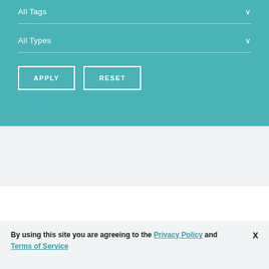All Tags
All Types
APPLY
RESET
[Figure (logo): Purple blog post icon with RSS-style symbol]
Blog Post | Barry Overzoom
By using this site you are agreeing to the Privacy Policy and Terms of Service